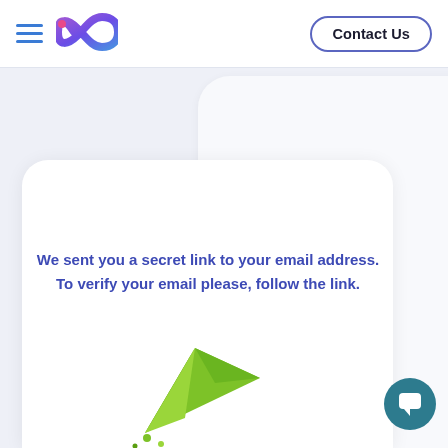[Figure (logo): Colorful infinity/ribbon logo with purple-pink-blue gradient, with a small pink dot accent]
Contact Us
We sent you a secret link to your email address. To verify your email please, follow the link.
[Figure (illustration): Green paper airplane illustration at bottom center of page]
[Figure (illustration): Teal circular chat/message button at bottom right]